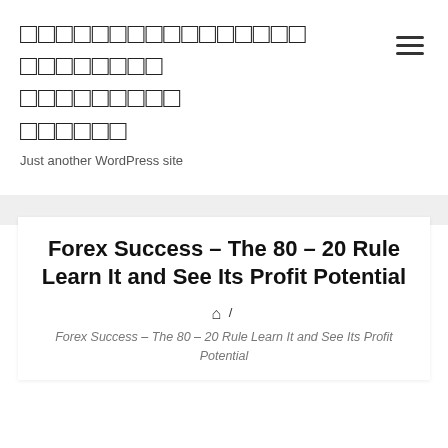□□□□□□□□□□□□□□□□ □□□□□□□□ □□□□□□□□□ □□□□□□
Just another WordPress site
Forex Success – The 80 – 20 Rule Learn It and See Its Profit Potential
🏠 / Forex Success – The 80 – 20 Rule Learn It and See Its Profit Potential